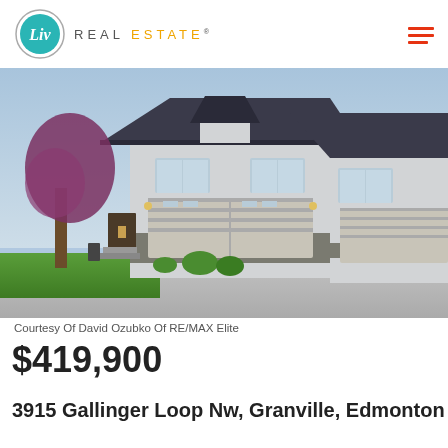Liv Real Estate
[Figure (photo): Exterior photo of a two-story townhouse with attached double garage, light grey siding with dark trim, stone accents, and a large purple/red tree in front yard. Other townhouse units visible to the right. Clear blue sky and green lawn visible.]
Courtesy Of David Ozubko Of RE/MAX Elite
$419,900
3915 Gallinger Loop Nw, Granville, Edmonton